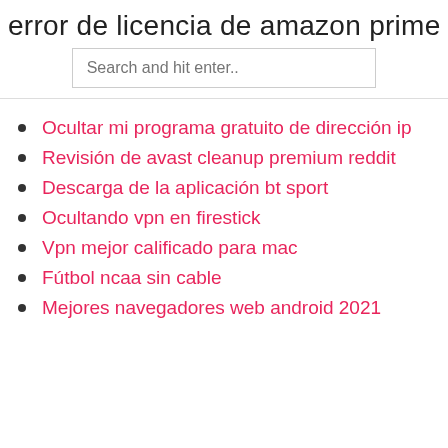error de licencia de amazon prime
Search and hit enter..
Ocultar mi programa gratuito de dirección ip
Revisión de avast cleanup premium reddit
Descarga de la aplicación bt sport
Ocultando vpn en firestick
Vpn mejor calificado para mac
Fútbol ncaa sin cable
Mejores navegadores web android 2021